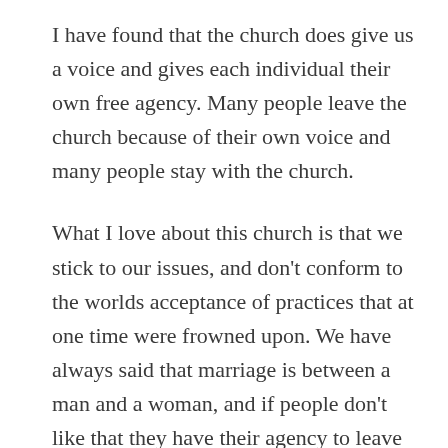I have found that the church does give us a voice and gives each individual their own free agency. Many people leave the church because of their own voice and many people stay with the church.
What I love about this church is that we stick to our issues, and don't conform to the worlds acceptance of practices that at one time were frowned upon. We have always said that marriage is between a man and a woman, and if people don't like that they have their agency to leave the church no big deal. We won't conform just to get acceptance. We are led by a prophet who